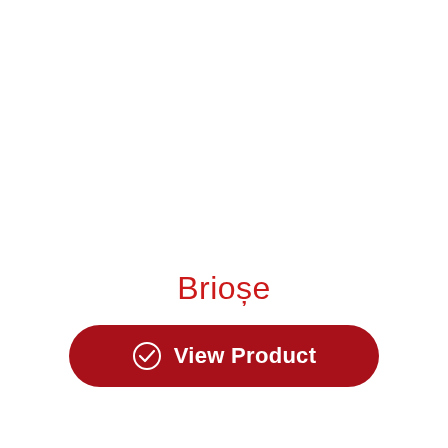Brioșe
[Figure (other): Red rounded rectangle button with checkmark icon and text 'View Product' in white]